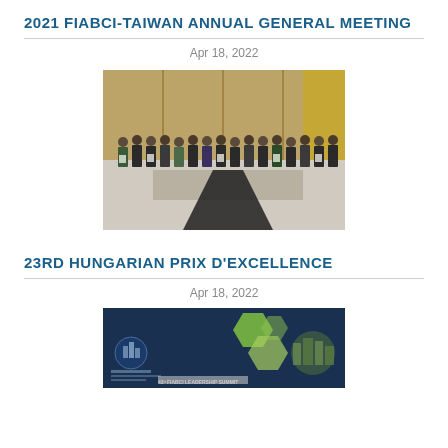2021 FIABCI-TAIWAN ANNUAL GENERAL MEETING
Apr 18, 2022
[Figure (photo): Group photo of masked attendees standing in a row at an indoor venue with wood paneling background]
23RD HUNGARIAN PRIX D'EXCELLENCE
Apr 18, 2022
[Figure (photo): Promotional banner/poster for FIABCI Leadership Summit with green hexagon shapes on dark blue background, partially visible]